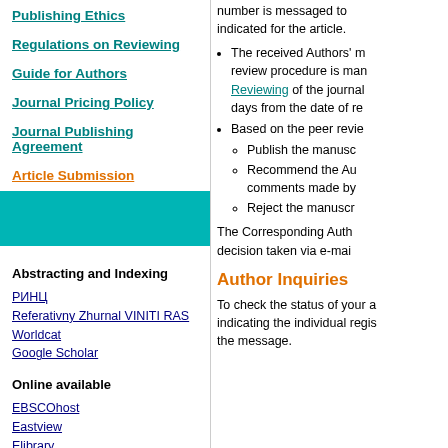Publishing Ethics
Regulations on Reviewing
Guide for Authors
Journal Pricing Policy
Journal Publishing Agreement
Article Submission
Abstracting and Indexing
РИНЦ
Referativny Zhurnal VINITI RAS
Worldcat
Google Scholar
Online available
EBSCOhost
Eastview
Elibrary
number is messaged to indicated for the article.
The received Authors' m review procedure is man Reviewing of the journal days from the date of re
Based on the peer revie
Publish the manusc
Recommend the Au comments made by
Reject the manuscr
The Corresponding Auth decision taken via e-mai
Author Inquiries
To check the status of your a indicating the individual regis the message.